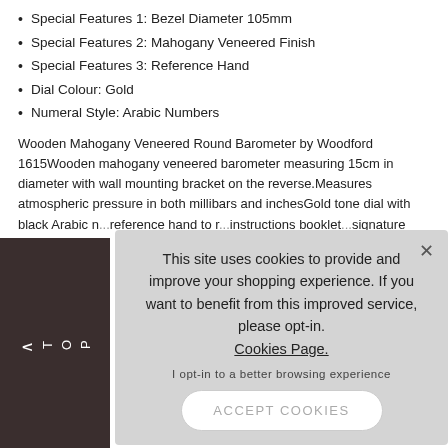Special Features 1: Bezel Diameter 105mm
Special Features 2: Mahogany Veneered Finish
Special Features 3: Reference Hand
Dial Colour: Gold
Numeral Style: Arabic Numbers
Wooden Mahogany Veneered Round Barometer by Woodford 1615Wooden mahogany veneered barometer measuring 15cm in diameter with wall mounting bracket on the reverse.Measures atmospheric pressure in both millibars and inchesGold tone dial with black Arabic n... reference hand to r... instructions booklet... signature required d...
[Figure (screenshot): Cookie consent overlay popup with text 'This site uses cookies to provide and improve your shopping experience. If you want to benefit from this improved service, please opt-in. Cookies Page.' and an 'I opt-in to a better browsing experience' link and 'ACCEPT COOKIES' button]
[Figure (other): Dark brown sidebar with 'TOP' text rotated vertically and an upward arrow, and a Facebook icon below it]